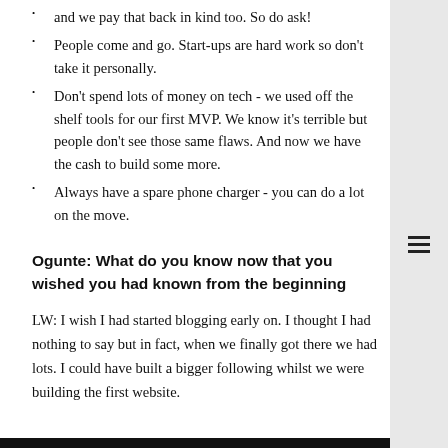and we pay that back in kind too. So do ask!
People come and go. Start-ups are hard work so don't take it personally.
Don't spend lots of money on tech - we used off the shelf tools for our first MVP. We know it's terrible but people don't see those same flaws. And now we have the cash to build some more.
Always have a spare phone charger - you can do a lot on the move.
Ogunte: What do you know now that you wished you had known from the beginning
LW: I wish I had started blogging early on. I thought I had nothing to say but in fact, when we finally got there we had lots. I could have built a bigger following whilst we were building the first website.